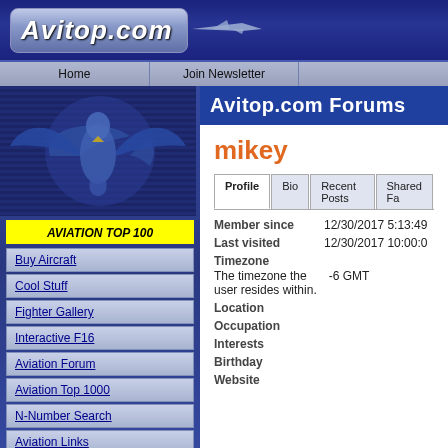Avitop.com
Home
Join Newsletter
[Figure (illustration): Avitop.com sidebar with eagle/aircraft silhouette illustration on dark blue background]
AVIATION TOP 100
Buy Aircraft
Cool Stuff
Fighter Gallery
Interactive F16
Aviation Forum
Aviation Top 1000
N-Number Search
Aviation Links
Avitop.com Forums
mikey
| Field | Value |
| --- | --- |
| Member since | 12/30/2017 5:13:49 |
| Last visited | 12/30/2017 10:00:0(0) |
| Timezone |  |
| The timezone the user resides within. | -6 GMT |
| Location |  |
| Occupation |  |
| Interests |  |
| Birthday |  |
| Website |  |